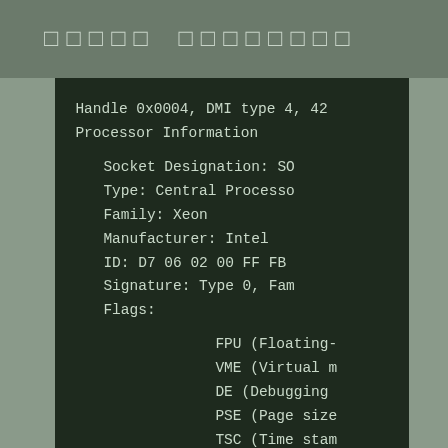Linux Sysadmin
Handle 0x0004, DMI type 4, 42
Processor Information
    Socket Designation: SO
    Type: Central Processo
    Family: Xeon
    Manufacturer: Intel
    ID: D7 06 02 00 FF FB
    Signature: Type 0, Fam
    Flags:
            FPU (Floating-
            VME (Virtual m
            DE (Debugging
            PSE (Page size
            TSC (Time stam
            MSR (Model spe